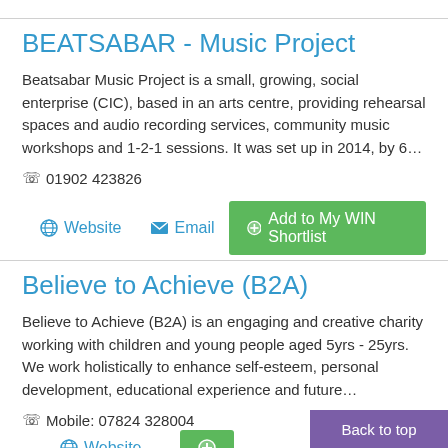BEATSABAR - Music Project
Beatsabar Music Project is a small, growing, social enterprise (CIC), based in an arts centre, providing rehearsal spaces and audio recording services, community music workshops and 1-2-1 sessions. It was set up in 2014, by 6…
☎ 01902 423826
Website  Email  Add to My WIN Shortlist
Believe to Achieve (B2A)
Believe to Achieve (B2A) is an engaging and creative charity working with children and young people aged 5yrs - 25yrs. We work holistically to enhance self-esteem, personal development, educational experience and future…
☎ Mobile: 07824 328004
Back to top